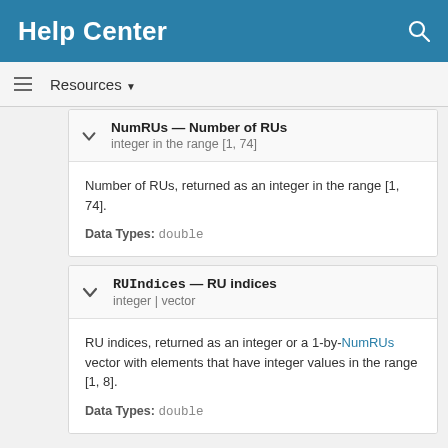Help Center
Resources
NumRUs — Number of RUs
integer in the range [1, 74]
Number of RUs, returned as an integer in the range [1, 74].
Data Types: double
RUIndices — RU indices
integer | vector
RU indices, returned as an integer or a 1-by-NumRUs vector with elements that have integer values in the range [1, 8].
Data Types: double